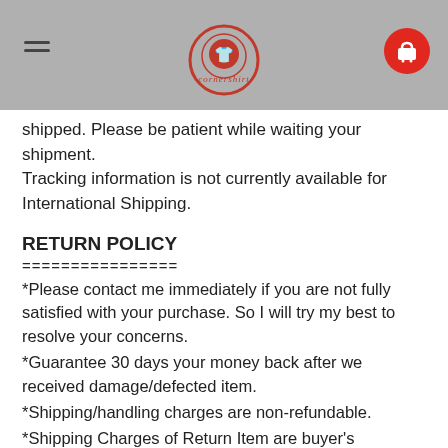cornershirt
shipped. Please be patient while waiting your shipment. Tracking information is not currently available for International Shipping.
RETURN POLICY
================
*Please contact me immediately if you are not fully satisfied with your purchase. So I will try my best to resolve your concerns.
*Guarantee 30 days your money back after we received damage/defected item.
*Shipping/handling charges are non-refundable.
*Shipping Charges of Return Item are buyer's responsibility.
Don't Forget For Buy Merry Christmas Custom Design T shirts Size ,S,M,L,XL,2XL, and Don't